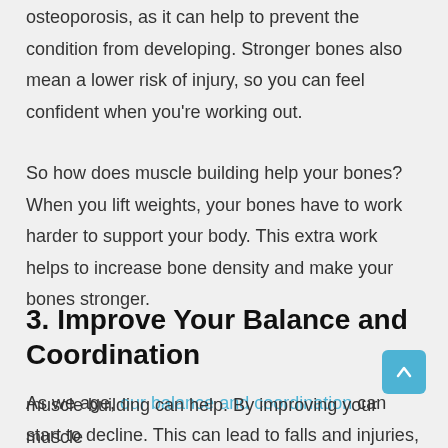osteoporosis, as it can help to prevent the condition from developing. Stronger bones also mean a lower risk of injury, so you can feel confident when you're working out.
So how does muscle building help your bones? When you lift weights, your bones have to work harder to support your body. This extra work helps to increase bone density and make your bones stronger.
3. Improve Your Balance and Coordination
As we age, our balance and coordination can start to decline. This can lead to falls and injuries, but luckily, muscle building can help. By improving your muscle...